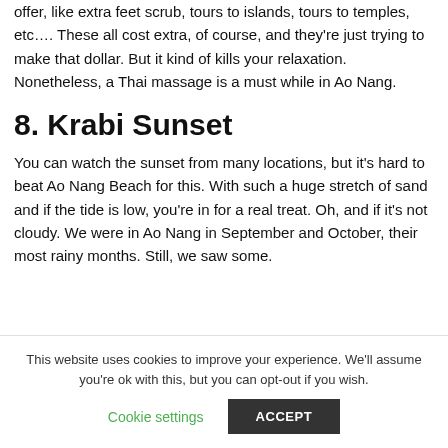offer, like extra feet scrub, tours to islands, tours to temples, etc…. These all cost extra, of course, and they're just trying to make that dollar. But it kind of kills your relaxation. Nonetheless, a Thai massage is a must while in Ao Nang.
8. Krabi Sunset
You can watch the sunset from many locations, but it's hard to beat Ao Nang Beach for this. With such a huge stretch of sand and if the tide is low, you're in for a real treat. Oh, and if it's not cloudy. We were in Ao Nang in September and October, their most rainy months. Still, we saw some.
This website uses cookies to improve your experience. We'll assume you're ok with this, but you can opt-out if you wish.
Cookie settings   ACCEPT